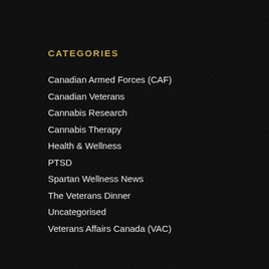CATEGORIES
Canadian Armed Forces (CAF)
Canadian Veterans
Cannabis Research
Cannabis Therapy
Health & Wellness
PTSD
Spartan Wellness News
The Veterans Dinner
Uncategorised
Veterans Affairs Canada (VAC)